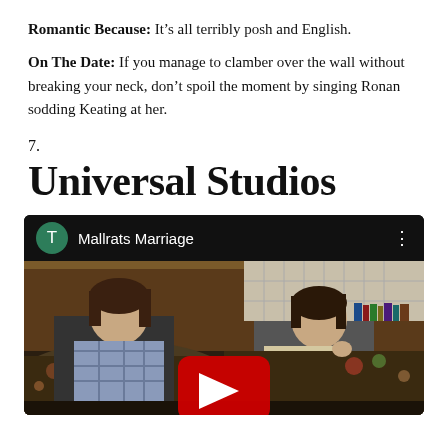Romantic Because: It’s all terribly posh and English.
On The Date: If you manage to clamber over the wall without breaking your neck, don’t spoil the moment by singing Ronan sodding Keating at her.
7.
Universal Studios
[Figure (screenshot): YouTube video embed showing 'Mallrats Marriage' with a teal channel icon with letter T, three-dot menu, and a thumbnail of two young men sitting in chairs in a cluttered room, with a YouTube play button overlay.]